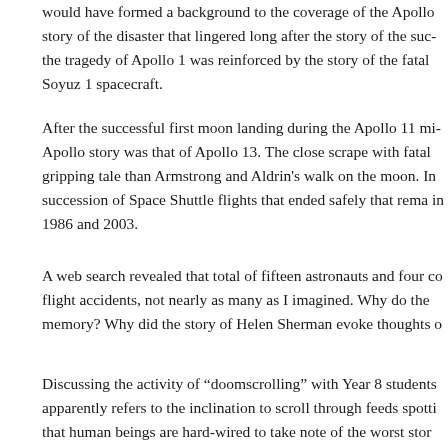would have formed a background to the coverage of the Apollo story of the disaster that lingered long after the story of the success the tragedy of Apollo 1 was reinforced by the story of the fatal Soyuz 1 spacecraft.
After the successful first moon landing during the Apollo 11 mission, Apollo story was that of Apollo 13. The close scrape with fatal disaster was a gripping tale than Armstrong and Aldrin's walk on the moon. In succession of Space Shuttle flights that ended safely that remained in 1986 and 2003.
A web search revealed that total of fifteen astronauts and four cosmonauts died in flight accidents, not nearly as many as I imagined. Why do the failures loom so large in memory? Why did the story of Helen Sherman evoke thoughts of danger?
Discussing the activity of “doomscrolling” with Year 8 students apparently refers to the inclination to scroll through feeds spotting that human beings are hard-wired to take note of the worst stories, expecting the worst. It explains my misremembering of the Space